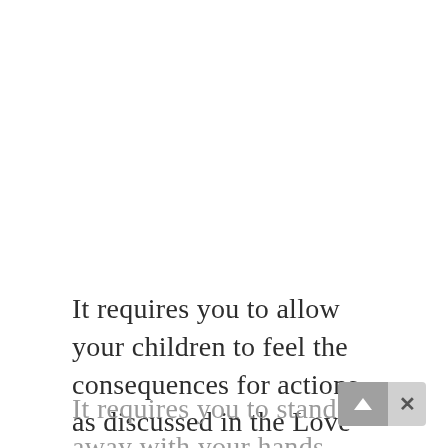It requires you to allow your children to feel the consequences for actions as discussed in the Love & Logic books.
It requires you to stand away with your hands behind your back while your child